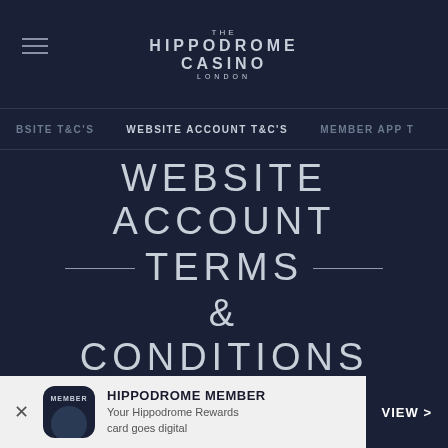[Figure (logo): The Hippodrome Casino London logo with hamburger menu icon]
BSITE T&C'S   WEBSITE ACCOUNT T&C'S   MEMBER APP T
WEBSITE ACCOUNT TERMS & CONDITIONS
16TH JANUARY 2019
1. INTRODUCTION
[Figure (infographic): App download banner: Hippodrome Member app icon, text 'HIPPODROME MEMBER - Your Hippodrome Rewards card goes digital', VIEW button]